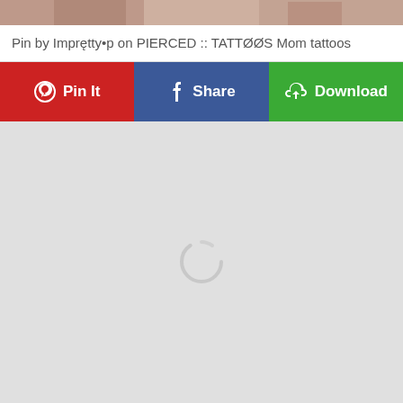[Figure (photo): Top portion of a person's face/hair, cropped, shown at the top of the page as a thumbnail preview]
Pin by Imprętty•p on PIERCED :: TATTØØS Mom tattoos
[Figure (screenshot): Three action buttons in a row: red 'Pin It' button with Pinterest logo, blue 'Share' button with Facebook logo, green 'Download' button with download cloud icon]
[Figure (photo): Large loading area with light gray background and a circular loading spinner in the center, indicating content is being loaded]